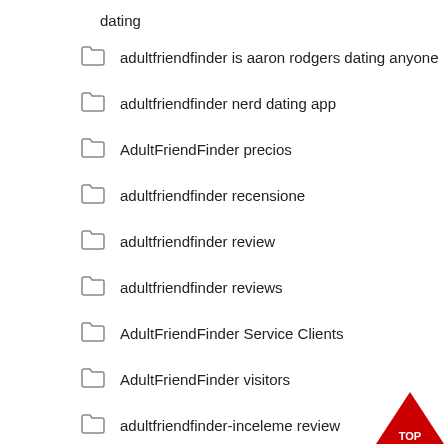dating
adultfriendfinder is aaron rodgers dating anyone
adultfriendfinder nerd dating app
AdultFriendFinder precios
adultfriendfinder recensione
adultfriendfinder review
adultfriendfinder reviews
AdultFriendFinder Service Clients
AdultFriendFinder visitors
adultfriendfinder-inceleme review
adultfriendfinder-inceleme visitors